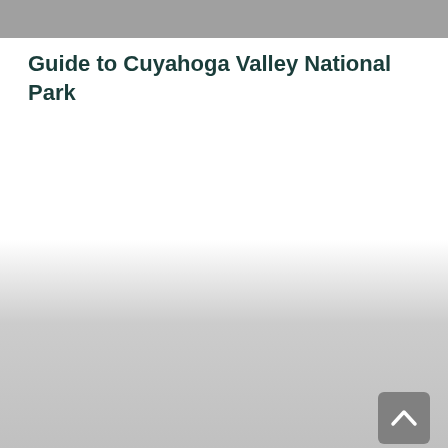Guide to Cuyahoga Valley National Park
[Figure (other): Bottom gradient background fading from white to light gray, with a scroll-to-top button in the lower right corner (gray rounded rectangle with an upward chevron arrow).]